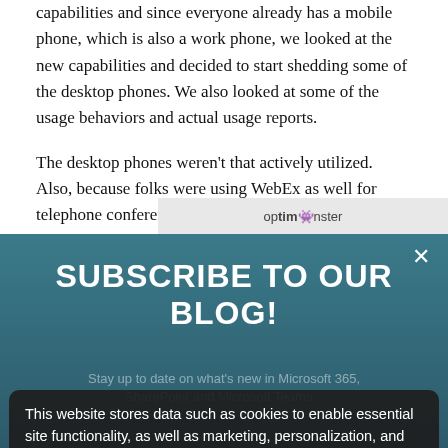capabilities and since everyone already has a mobile phone, which is also a work phone, we looked at the new capabilities and decided to start shedding some of the desktop phones. We also looked at some of the usage behaviors and actual usage reports.
The desktop phones weren't that actively utilized. Also, because folks were using WebEx as well for telephone conferences and Skype fulfilled that need as well.
[Figure (screenshot): OptinMonster popup overlay with 'SUBSCRIBE TO OUR BLOG!' heading on a teal/dark blue gradient background, with close X button and cookie consent bar at bottom]